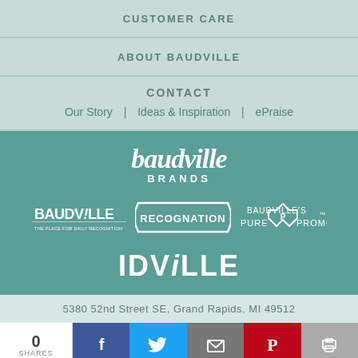CUSTOMER CARE
ABOUT BAUDVILLE
CONTACT
Our Story | Ideas & Inspiration | ePraise
[Figure (logo): Baudville Brands logo with subsidiary brand logos: Baudville - The Place for Daily Recognition, Recognation, Pure Promo, IDville]
5380 52nd Street SE, Grand Rapids, MI 49512
0 SHARES | Facebook | Twitter | Email | Pinterest | Print